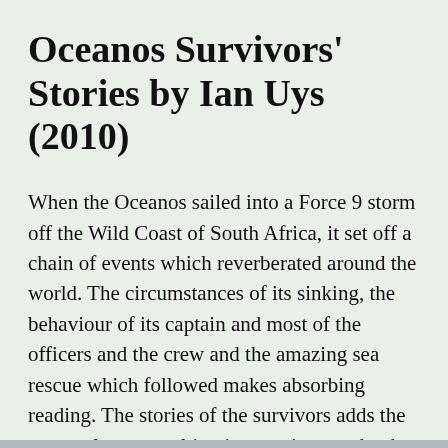Oceanos Survivors' Stories by Ian Uys (2010)
When the Oceanos sailed into a Force 9 storm off the Wild Coast of South Africa, it set off a chain of events which reverberated around the world. The circumstances of its sinking, the behaviour of its captain and most of the officers and the crew and the amazing sea rescue which followed makes absorbing reading. The stories of the survivors adds the personal touc resulting in an epic saga that has few rivals in sea lore.